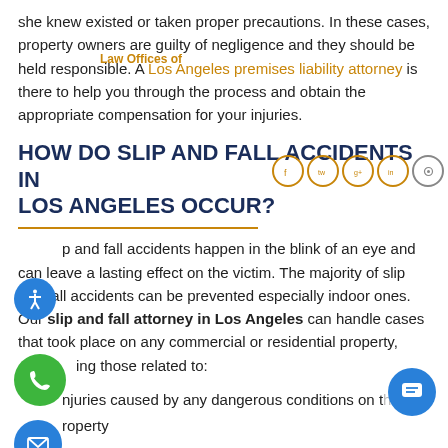she knew existed or taken proper precautions. In these cases, property owners are guilty of negligence and they should be held responsible. A Los Angeles premises liability attorney is there to help you through the process and obtain the appropriate compensation for your injuries.
HOW DO SLIP AND FALL ACCIDENTS IN LOS ANGELES OCCUR?
Slip and fall accidents happen in the blink of an eye and can leave a lasting effect on the victim. The majority of slip and fall accidents can be prevented especially indoor ones. Our slip and fall attorney in Los Angeles can handle cases that took place on any commercial or residential property, including those related to:
Injuries caused by any dangerous conditions on the property
Slip and fall on a floor that is wet from a roof leak